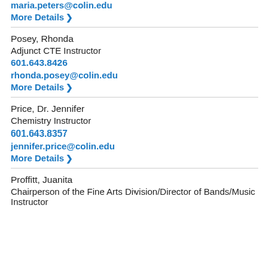maria.peters@colin.edu
More Details ›
Posey, Rhonda
Adjunct CTE Instructor
601.643.8426
rhonda.posey@colin.edu
More Details ›
Price, Dr. Jennifer
Chemistry Instructor
601.643.8357
jennifer.price@colin.edu
More Details ›
Proffitt, Juanita
Chairperson of the Fine Arts Division/Director of Bands/Music Instructor